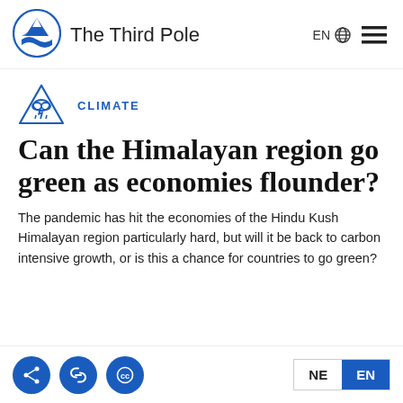The Third Pole
[Figure (logo): The Third Pole logo with mountain and hand in blue, and site name 'The Third Pole']
CLIMATE
Can the Himalayan region go green as economies flounder?
The pandemic has hit the economies of the Hindu Kush Himalayan region particularly hard, but will it be back to carbon intensive growth, or is this a chance for countries to go green?
NE  EN